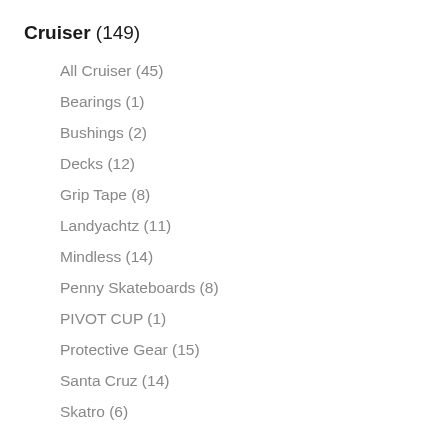Cruiser (149)
All Cruiser (45)
Bearings (1)
Bushings (2)
Decks (12)
Grip Tape (8)
Landyachtz (11)
Mindless (14)
Penny Skateboards (8)
PIVOT CUP (1)
Protective Gear (15)
Santa Cruz (14)
Skatro (6)